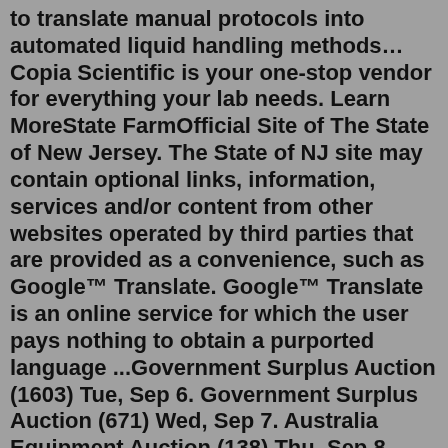to translate manual protocols into automated liquid handling methods…Copia Scientific is your one-stop vendor for everything your lab needs. Learn MoreState FarmOfficial Site of The State of New Jersey. The State of NJ site may contain optional links, information, services and/or content from other websites operated by third parties that are provided as a convenience, such as Google™ Translate. Google™ Translate is an online service for which the user pays nothing to obtain a purported language ...Government Surplus Auction (1603) Tue, Sep 6. Government Surplus Auction (671) Wed, Sep 7. Australia Equipment Auction (138) Thu, Sep 8. Equipment & Truck Auction (3320) Wyoming is where the untamed spirit of the West and majestic natural beauty open your mind and invigorate your senses to release your own inner freedom and sense of adventure. For some, adventure may mean taking the kids camping in Yellowstone National Park or visiting a rodeo for the first time. For others, it could be conquering one of the… Lot of 2 Amkus Extrication